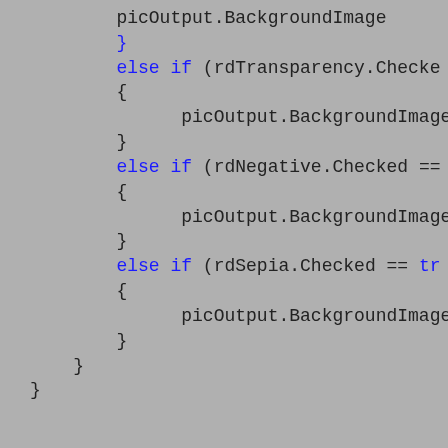[Figure (screenshot): Code snippet showing C# conditional blocks with else if statements checking rdTransparency.Checked, rdNegative.Checked, and rdSepia.Checked, with picOutput.BackgroundImage assignments in each block.]